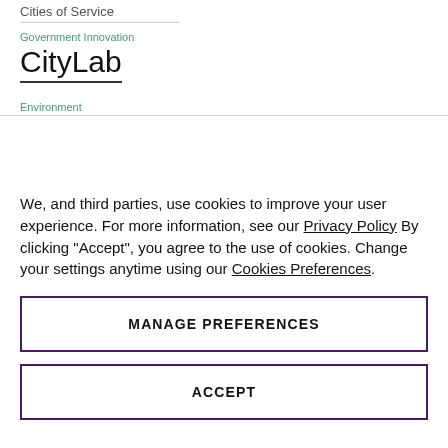Cities of Service
Government Innovation
CityLab
Environment
We, and third parties, use cookies to improve your user experience. For more information, see our Privacy Policy By clicking "Accept", you agree to the use of cookies. Change your settings anytime using our Cookies Preferences.
MANAGE PREFERENCES
ACCEPT